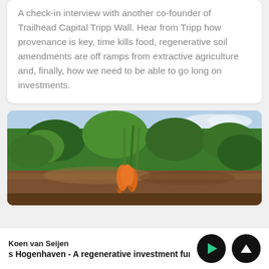A check-in interview with another co-founder of Trailhead Capital Tripp Wall. Hear from Tripp how provenance is key, time kills food, regenerative soil amendments are off ramps from extractive agriculture and, finally, how we need to be able to go long on investments.
[Figure (photo): Photo of carrots being pulled from soil in a regenerative agricultural field, with lush green carrot tops and leafy plants visible against a partly cloudy sky.]
Koen van Seijen
s Hogenhaven - A regenerative investment fur